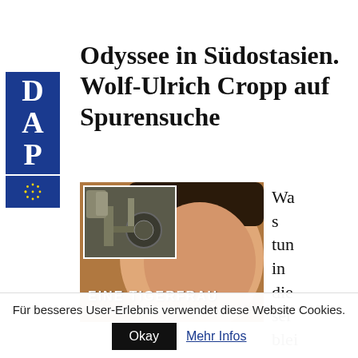[Figure (logo): DAP logo with blue background showing letters D, A, P stacked vertically, with EU star circle logo below]
Odyssee in Südostasien. Wolf-Ulrich Cropp auf Spurensuche
[Figure (photo): Composite image: top-left shows ruins/machinery, main image shows Asian woman's face close-up, overlay text reads EINE TIGERFRAU and Spurensuche in Thailand und Myanmar]
Was tun in die ser blei ern
Für besseres User-Erlebnis verwendet diese Website Cookies.
Okay
Mehr Infos